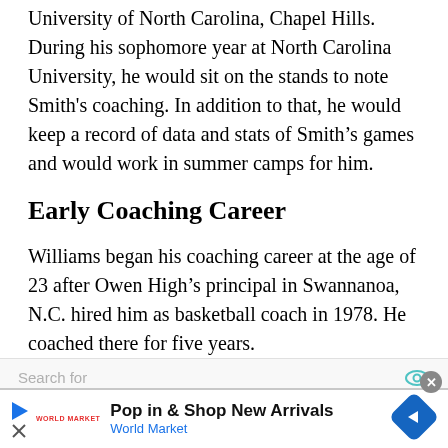University of North Carolina, Chapel Hills. During his sophomore year at North Carolina University, he would sit on the stands to note Smith's coaching. In addition to that, he would keep a record of data and stats of Smith's games and would work in summer camps for him.
Early Coaching Career
Williams began his coaching career at the age of 23 after Owen High's principal in Swannanoa, N.C. hired him as basketball coach in 1978. He coached there for five years.
[Figure (screenshot): Search bar with eye icon, and advertisement banner for World Market reading 'Pop in & Shop New Arrivals' with a blue diamond-shaped arrow icon and close button]